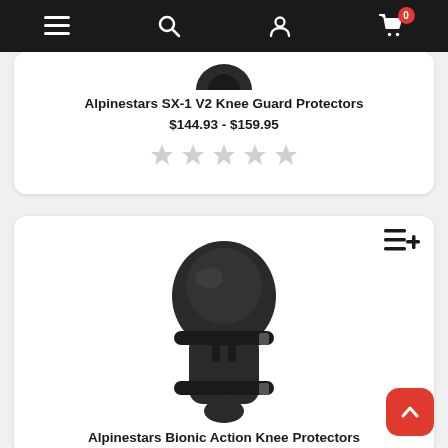Navigation bar with menu, search, account, and cart icons
[Figure (photo): Partial top of a knee guard protector product image (cropped)]
Alpinestars SX-1 V2 Knee Guard Protectors
$144.93 - $159.95
[Figure (other): 5 empty/unrated grey stars]
[Figure (photo): Alpinestars Bionic Action Knee Protectors - black knee/elbow guard with straps]
Alpinestars Bionic Action Knee Protectors